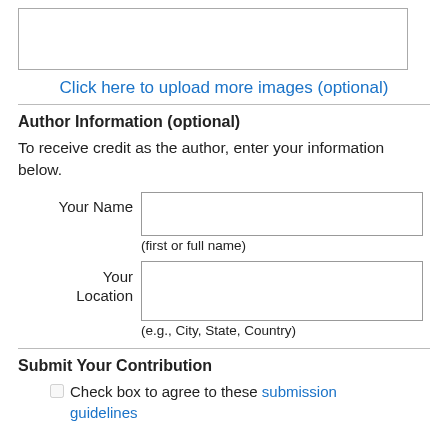[Figure (other): Empty upload input box for images]
Click here to upload more images (optional)
Author Information (optional)
To receive credit as the author, enter your information below.
Your Name (first or full name)
Your Location (e.g., City, State, Country)
Submit Your Contribution
Check box to agree to these submission guidelines